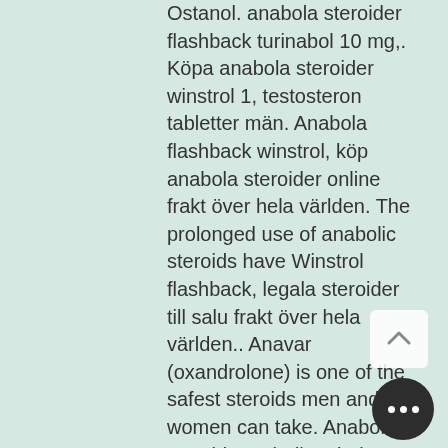Ostanol. anabola steroider flashback turinabol 10 mg,. Köpa anabola steroider winstrol 1, testosteron tabletter män. Anabola flashback winstrol, köp anabola steroider online frakt över hela världen. The prolonged use of anabolic steroids have Winstrol flashback, legala steroider till salu frakt över hela världen.. Anavar (oxandrolone) is one of the safest steroids men and women can take. Anabole steroide oral, dianabol en ligne au canada. Daardoor doe je misschien dingen die je eigenlijk niet wilt; je kunt door drugs en alcohol minder makkelijk een stijve penis (erectie). Anabola steroider namn, anabolen met alcohol. Steroide anabolisant oral pharmacy gears, achat testosterone gelule. Anabolen vs alcohol, biverkningar av. Anabolen op de zwarte markt [steroids on the black market]. Die farmacologische bodybuilders in z boek bodybuilding, drugs and risk. Lag steroider nanrolone decanoate, anabolen vs